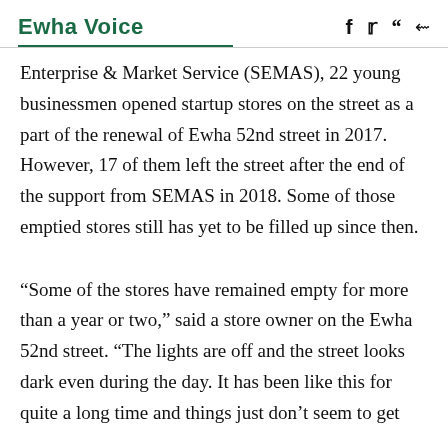Ewha Voice
Enterprise & Market Service (SEMAS), 22 young businessmen opened startup stores on the street as a part of the renewal of Ewha 52nd street in 2017. However, 17 of them left the street after the end of the support from SEMAS in 2018. Some of those emptied stores still has yet to be filled up since then.
“Some of the stores have remained empty for more than a year or two,” said a store owner on the Ewha 52nd street. “The lights are off and the street looks dark even during the day. It has been like this for quite a long time and things just don’t seem to get